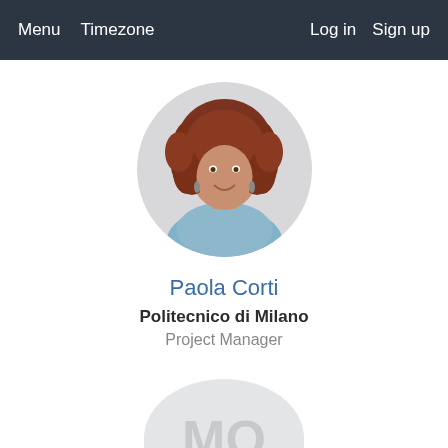Menu   Timezone   Log in   Sign up
[Figure (photo): Circular profile photo of Paola Corti, a woman with curly reddish-brown hair wearing a light blue sleeveless top, smiling, against a white background]
Paola Corti
Politecnico di Milano
Project Manager
[Figure (illustration): Partial circular avatar placeholder with initials 'MO' visible in gray, cut off at the bottom of the page]